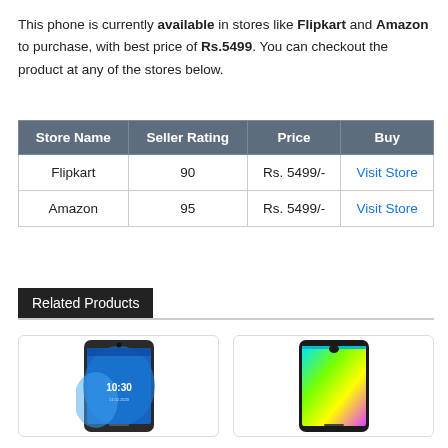This phone is currently available in stores like Flipkart and Amazon to purchase, with best price of Rs.5499. You can checkout the product at any of the stores below.
| Store Name | Seller Rating | Price | Buy |
| --- | --- | --- | --- |
| Flipkart | 90 | Rs. 5499/- | Visit Store |
| Amazon | 95 | Rs. 5499/- | Visit Store |
Related Products
[Figure (photo): Smartphone product image showing a phone with blue wallpaper and 10:30 time display]
[Figure (photo): Smartphone product image showing a phone with colorful gradient wallpaper]